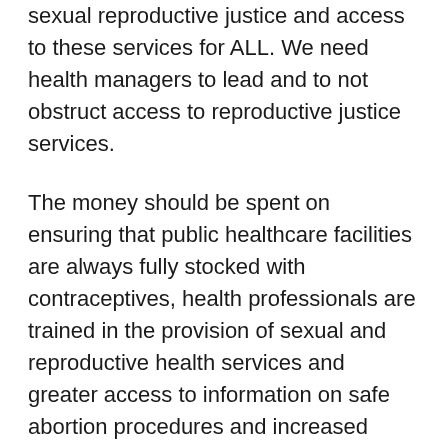sexual reproductive justice and access to these services for ALL. We need health managers to lead and to not obstruct access to reproductive justice services.
The money should be spent on ensuring that public healthcare facilities are always fully stocked with contraceptives, health professionals are trained in the provision of sexual and reproductive health services and greater access to information on safe abortion procedures and increased delivery of public services of abortion provision.
It is time you took sexual and reproductive health seriously. If you want my vote, you must prove to me that you truly care about